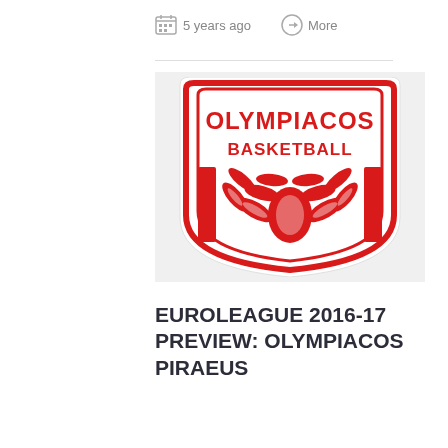5 years ago   More
[Figure (logo): Olympiacos Basketball club logo: red shield shape with 'OLYMPIACOS BASKETBALL' text in red on white background, with red vertical bars and a red laurel wreath / torch emblem in the center]
EUROLEAGUE 2016-17 PREVIEW: OLYMPIACOS PIRAEUS